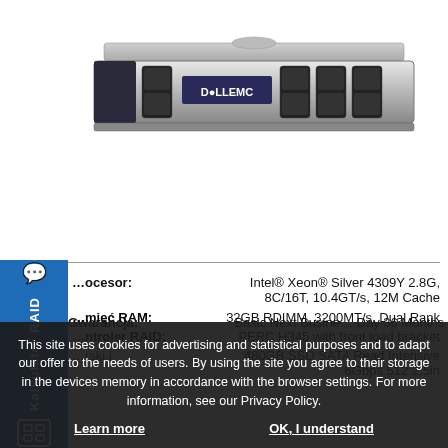[Figure (photo): Dell EMC server rack unit, 1U form factor, front view showing drive bays and Dell EMC logo]
Procesor: Intel® Xeon® Silver 4309Y 2.8G, 8C/16T, 10.4GT/s, 12M Cache
Pamięć RAM: 32GB RDIMM, 3200MT/s, Dual Rank
Kontroler RAID: PERC H345 with front load bracket
Dyski i ... 480GB SSD SATA Read Intensive 6Gbps 512 2.5in
Gwarancja: Basic Next Business Day 36 Months
This site uses cookies for advertising and statistical purposes and to adapt our offer to the needs of users. By using the site you agree to their storage in the devices memory in accordance with the browser settings. For more information, see our Privacy Policy.